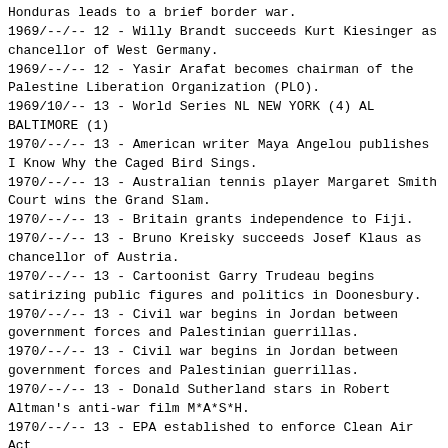Honduras leads to a brief border war.
1969/--/-- 12 - Willy Brandt succeeds Kurt Kiesinger as chancellor of West Germany.
1969/--/-- 12 - Yasir Arafat becomes chairman of the Palestine Liberation Organization (PLO).
1969/10/-- 13 - World Series NL NEW YORK (4) AL BALTIMORE (1)
1970/--/-- 13 - American writer Maya Angelou publishes I Know Why the Caged Bird Sings.
1970/--/-- 13 - Australian tennis player Margaret Smith Court wins the Grand Slam.
1970/--/-- 13 - Britain grants independence to Fiji.
1970/--/-- 13 - Bruno Kreisky succeeds Josef Klaus as chancellor of Austria.
1970/--/-- 13 - Cartoonist Garry Trudeau begins satirizing public figures and politics in Doonesbury.
1970/--/-- 13 - Civil war begins in Jordan between government forces and Palestinian guerrillas.
1970/--/-- 13 - Civil war begins in Jordan between government forces and Palestinian guerrillas.
1970/--/-- 13 - Donald Sutherland stars in Robert Altman's anti-war film M*A*S*H.
1970/--/-- 13 - EPA established to enforce Clean Air Act
1970/--/-- 13 - Edward Heath becomes Conservative prime minister of Britain.
1970/--/-- 13 - Egyptian president Gamal Abdel Nasser dies; he is succeeded by Anwar al-Sadat.
1970/--/-- 13 - Former defense minister Hafez al-Assad seizes power in Syria.